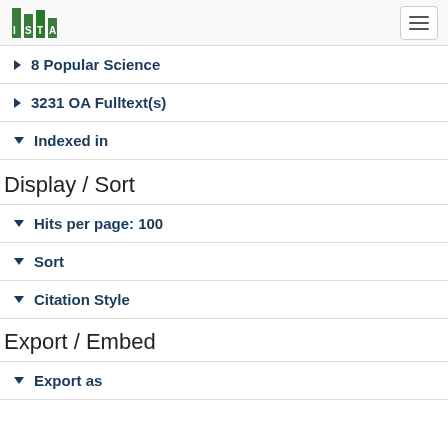ISTA
8 Popular Science
3231 OA Fulltext(s)
Indexed in
Display / Sort
Hits per page: 100
Sort
Citation Style
Export / Embed
Export as